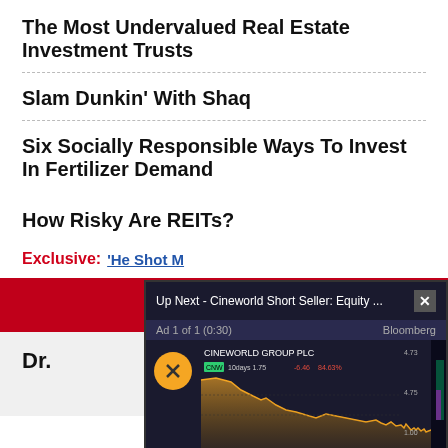The Most Undervalued Real Estate Investment Trusts
Slam Dunkin' With Shaq
Six Socially Responsible Ways To Invest In Fertilizer Demand
How Risky Are REITs?
Exclusive: ‘He Shot M…
PREMIUM S…
Dr.
[Figure (screenshot): Bloomberg ad overlay showing Cineworld Group PLC stock chart with ticker. Header: 'Up Next - Cineworld Short Seller: Equity ...' with close button. Sub-header: 'Ad 1 of 1 (0:30)' and Bloomberg logo. Chart shows declining stock performance. Footer: 'CINEWORLD SHARES CONTINUE TO PLUNGE']